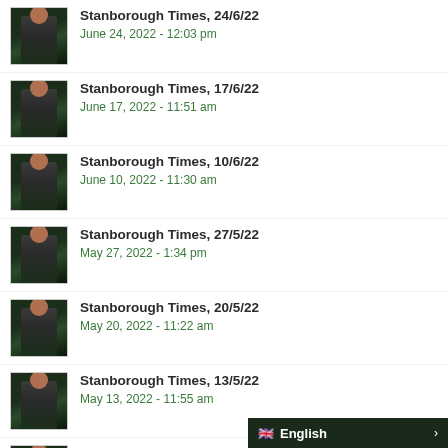Stanborough Times, 24/6/22
June 24, 2022 - 12:03 pm
Stanborough Times, 17/6/22
June 17, 2022 - 11:51 am
Stanborough Times, 10/6/22
June 10, 2022 - 11:30 am
Stanborough Times, 27/5/22
May 27, 2022 - 1:34 pm
Stanborough Times, 20/5/22
May 20, 2022 - 11:22 am
Stanborough Times, 13/5/22
May 13, 2022 - 11:55 am
Stanborough Times, 6/5/22
May 6, 2022 - 1:11 pm
Stanborough Times, 29/4/22
April 29, 2022 - 1:07 pm
English